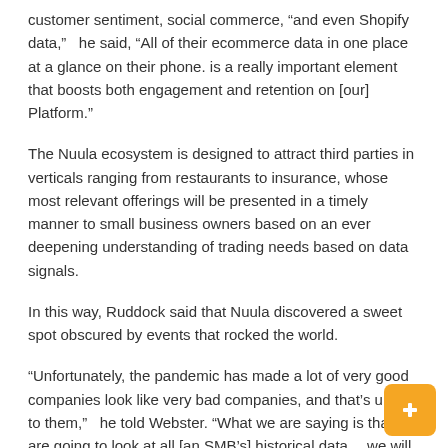customer sentiment, social commerce, “and even Shopify data,” he said, “All of their ecommerce data in one place at a glance on their phone. is a really important element that boosts both engagement and retention on [our] Platform.”
The Nuula ecosystem is designed to attract third parties in verticals ranging from restaurants to insurance, whose most relevant offerings will be presented in a timely manner to small business owners based on an ever deepening understanding of trading needs based on data signals.
In this way, Ruddock said that Nuula discovered a sweet spot obscured by events that rocked the world.
“Unfortunately, the pandemic has made a lot of very good companies look like very bad companies, and that’s unfair to them,” he told Webster. “What we are saying is that we are going to look at all [an SMB’s] historical data… we will continuously monitor you as you move forward, as you recover, as you grow, as you evolve.